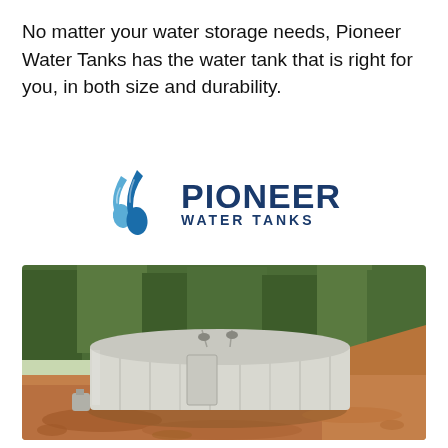No matter your water storage needs, Pioneer Water Tanks has the water tank that is right for you, in both size and durability.
[Figure (logo): Pioneer Water Tanks logo with two blue water drop shapes and bold dark blue text reading PIONEER WATER TANKS]
[Figure (photo): Outdoor photograph of a large round corrugated steel water tank installed on a red dirt site with a forest of trees in the background]